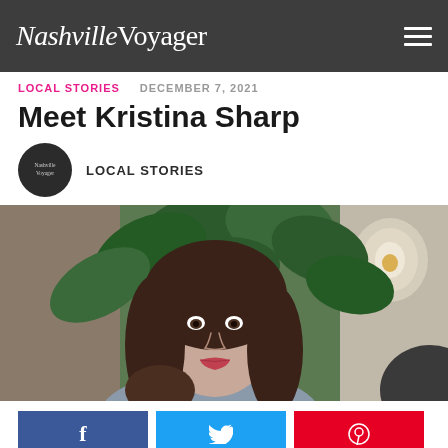NashvilleVoyager
LOCAL STORIES   DECEMBER 7, 2021
Meet Kristina Sharp
LOCAL STORIES
[Figure (photo): Portrait photo of Kristina Sharp, a young woman with dark brown hair and bangs, sitting in front of a large leafy plant and decorative light bulbs]
Social share buttons: Facebook, Twitter, Pinterest